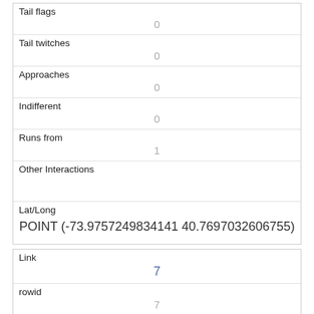| Tail flags | 0 |
| Tail twitches | 0 |
| Approaches | 0 |
| Indifferent | 0 |
| Runs from | 1 |
| Other Interactions |  |
| Lat/Long | POINT (-73.9757249834141 40.7697032606755) |
| Link | 7 |
| rowid | 7 |
| longitude | -73.9719735582476 |